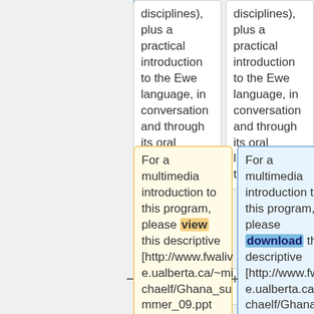disciplines), plus a practical introduction to the Ewe language, in conversation and through its oral literary tradition.
disciplines), plus a practical introduction to the Ewe language, in conversation and through its oral literary tradition.
For a multimedia introduction to this program, please view this descriptive [http://www.fwalive.ualberta.ca/~michaelf/Ghana_summer_09.ppt powerpoint presentation]
For a multimedia introduction to this program, please download this descriptive [http://www.fwalive.ualberta.ca/~michaelf/Ghana_summer_09.ppt powerpoint presentation] (along with this